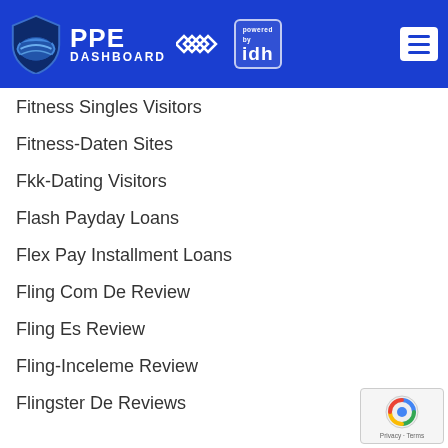PPE DASHBOARD powered by idh
Fitness Singles Visitors
Fitness-Daten Sites
Fkk-Dating Visitors
Flash Payday Loans
Flex Pay Installment Loans
Fling Com De Review
Fling Es Review
Fling-Inceleme Review
Flingster De Reviews